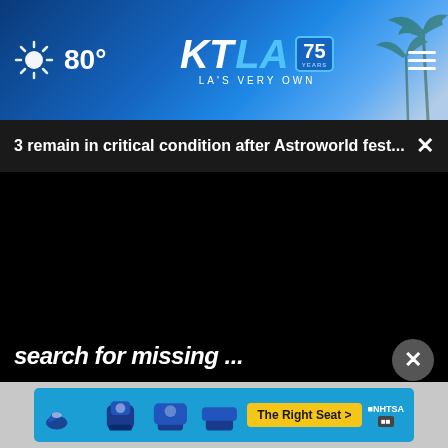80° KTLA 75 YEARS LA'S VERY OWN
3 remain in critical condition after Astroworld fest...
[Figure (screenshot): Black video player area embedded in news website]
search for missing ...
[Figure (infographic): NHTSA car seat safety advertisement with car seat icons and 'The Right Seat >' button]